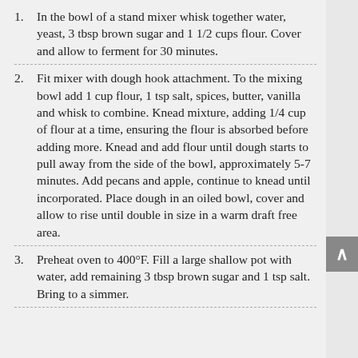1. In the bowl of a stand mixer whisk together water, yeast, 3 tbsp brown sugar and 1 1/2 cups flour. Cover and allow to ferment for 30 minutes.
2. Fit mixer with dough hook attachment. To the mixing bowl add 1 cup flour, 1 tsp salt, spices, butter, vanilla and whisk to combine. Knead mixture, adding 1/4 cup of flour at a time, ensuring the flour is absorbed before adding more. Knead and add flour until dough starts to pull away from the side of the bowl, approximately 5-7 minutes. Add pecans and apple, continue to knead until incorporated. Place dough in an oiled bowl, cover and allow to rise until double in size in a warm draft free area.
3. Preheat oven to 400°F. Fill a large shallow pot with water, add remaining 3 tbsp brown sugar and 1 tsp salt. Bring to a simmer.